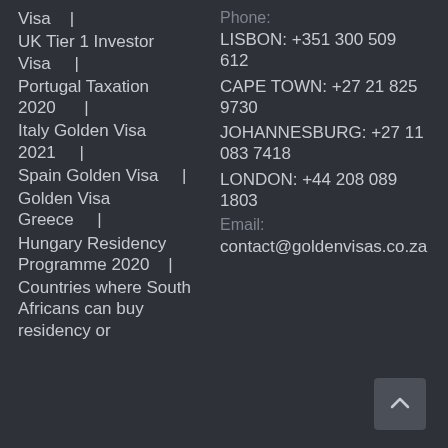Visa |
UK Tier 1 Investor Visa |
Portugal Taxation 2020 |
Italy Golden Visa 2021 |
Spain Golden Visa |
Golden Visa Greece |
Hungary Residency Programme 2020 |
Countries where South Africans can buy residency or
Phone:
LISBON: +351 300 509 612
CAPE TOWN: +27 21 825 9730
JOHANNESBURG: +27 11 083 7418
LONDON: +44 208 089 1803
Email:
contact@goldenvisas.co.za